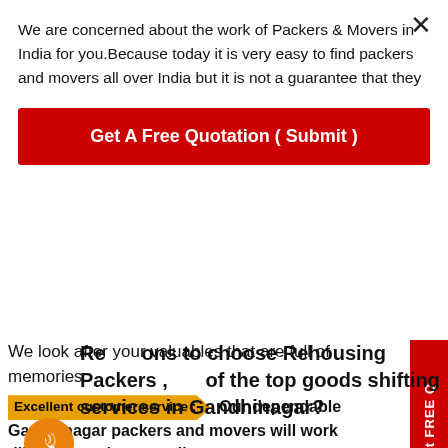We are concerned about the work of Packers & Movers in India for you.Because today it is very easy to find packers and movers all over India but it is not a guarantee that they
[Figure (other): Red button: Get A Free Quotation ( Submit )]
We look after your valuables that are full of memories.
Excellent customer service :- Our dependable Gandhinagar packers and movers will work diligently and responsib
Reasons to choose Rehousing Packers , of the top goods shifting services in Gandhinagar?
Best Packers and Movers in Gandhinagar provides you with business contacts and is well-known for providing specialist relocation